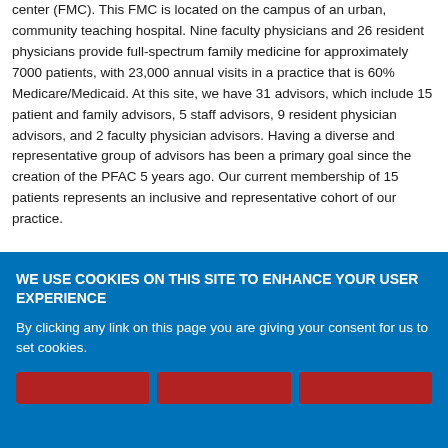center (FMC). This FMC is located on the campus of an urban, community teaching hospital. Nine faculty physicians and 26 resident physicians provide full-spectrum family medicine for approximately 7000 patients, with 23,000 annual visits in a practice that is 60% Medicare/Medicaid. At this site, we have 31 advisors, which include 15 patient and family advisors, 5 staff advisors, 9 resident physician advisors, and 2 faculty physician advisors. Having a diverse and representative group of advisors has been a primary goal since the creation of the PFAC 5 years ago. Our current membership of 15 patients represents an inclusive and representative cohort of our practice.
Our PFAC meetings provide an opportunity for advisors to...
WE USE COOKIES ON THIS SITE TO ENHANCE YOUR USER EXPERIENCE
By clicking any link on this page you are giving your consent for us to set cookies.